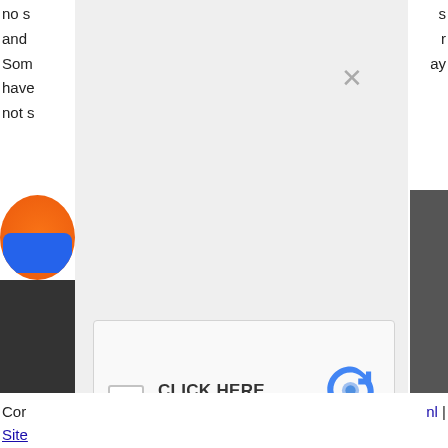no s
and
Som
have
not s
s
r
ay
[Figure (screenshot): Modal overlay with reCAPTCHA widget on a webpage. Contains a checkbox labeled 'CLICK HERE / I'm not a robot' with reCAPTCHA logo, Privacy and Terms links, and a close (X) button.]
Cor
nl |
Site